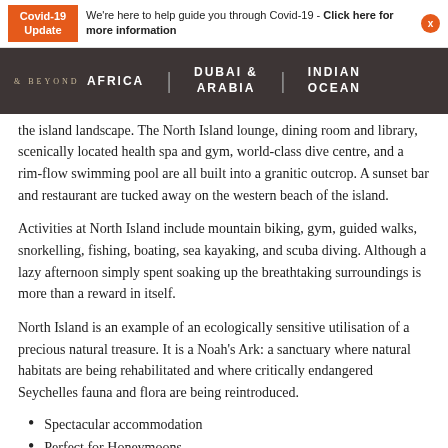Covid-19 Update | We're here to help guide you through Covid-19 - Click here for more information
& BEYOND | AFRICA | DUBAI & ARABIA | INDIAN OCEAN
the island landscape. The North Island lounge, dining room and library, scenically located health spa and gym, world-class dive centre, and a rim-flow swimming pool are all built into a granitic outcrop. A sunset bar and restaurant are tucked away on the western beach of the island.
Activities at North Island include mountain biking, gym, guided walks, snorkelling, fishing, boating, sea kayaking, and scuba diving. Although a lazy afternoon simply spent soaking up the breathtaking surroundings is more than a reward in itself.
North Island is an example of an ecologically sensitive utilisation of a precious natural treasure. It is a Noah's Ark: a sanctuary where natural habitats are being rehabilitated and where critically endangered Seychelles fauna and flora are being reintroduced.
Spectacular accommodation
Perfect for Honeymoons
Luxury villas